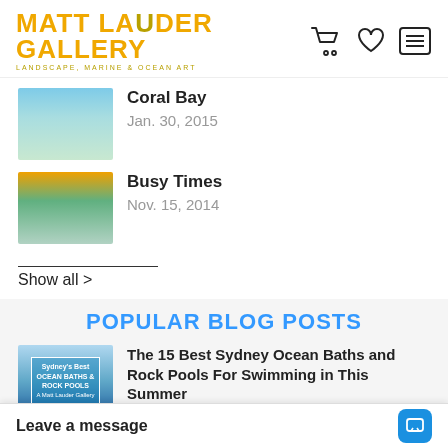MATT LAUDER GALLERY — Landscape, Marine & Ocean Art
Coral Bay — Jan. 30, 2015
Busy Times — Nov. 15, 2014
Show all >
POPULAR BLOG POSTS
The 15 Best Sydney Ocean Baths and Rock Pools For Swimming in This Summer — Back in 1819, the first ever ocean baths in Australia were made by convicts in Newc..
10 Best Places in Sydney to Watch the Sunrise — Whether amazing..
Leave a message